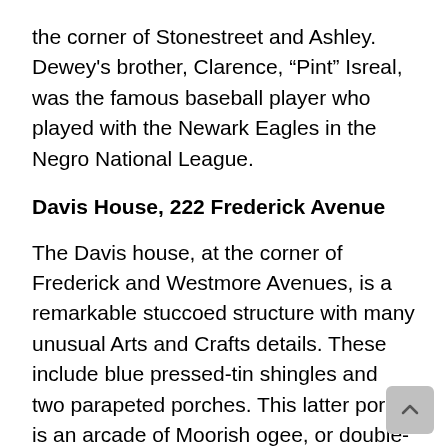the corner of Stonestreet and Ashley. Dewey's brother, Clarence, “Pint” Isreal, was the famous baseball player who played with the Newark Eagles in the Negro National League.
Davis House, 222 Frederick Avenue
The Davis house, at the corner of Frederick and Westmore Avenues, is a remarkable stuccoed structure with many unusual Arts and Crafts details. These include blue pressed-tin shingles and two parapeted porches. This latter porch is an arcade of Moorish ogee, or double-curved arches. The glass block window above the front door suggests the influence of Art Deco.
James N. Davis, Jr. designed and built this house over a period of about four years, beginning in the mid-1930’s. Reverend James Davis, Jr. was the